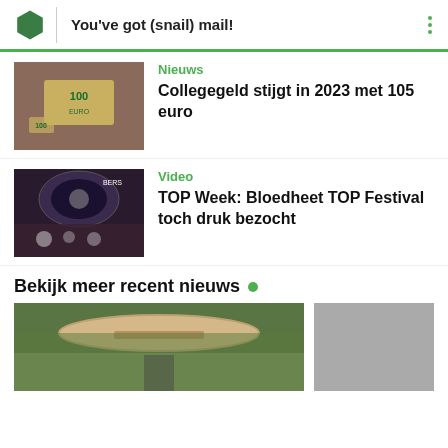You've got (snail) mail!
Nieuws
Collegegeld stijgt in 2023 met 105 euro
[Figure (photo): Hand holding a 100 euro banknote]
Video
TOP Week: Bloedheet TOP Festival toch druk bezocht
[Figure (photo): Crowd at an outdoor festival]
Bekijk meer recent nieuws
[Figure (photo): Man with a vehicle or boat structure outdoors]
[Figure (photo): Partially visible image on the right]